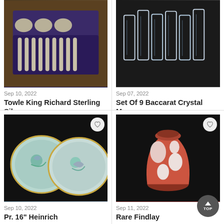[Figure (photo): Towle King Richard sterling silver flatware set in wooden box with blue velvet lining]
Sep 10, 2022
Towle King Richard Sterling Silver...
$1,700
[Figure (photo): Set of 9 Baccarat Crystal Massena crystal glasses on dark background]
Sep 07, 2022
Set Of 9 Baccarat Crystal Massena...
$170
[Figure (photo): Pair of 16 inch Heinrich decorative plates with bird and floral motifs on dark background]
Sep 10, 2022
Pr. 16" Heinrich
[Figure (photo): Rare Findlay pink and white art glass vase on dark background]
Sep 11, 2022
Rare Findlay